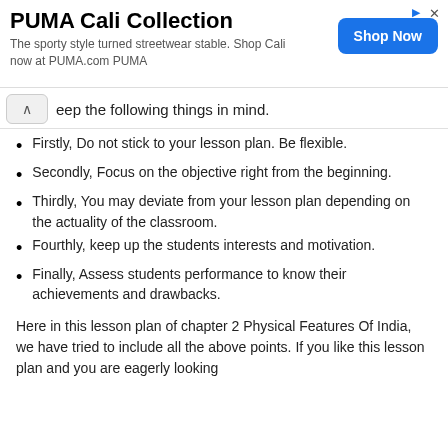[Figure (other): PUMA Cali Collection advertisement banner with Shop Now button]
eep the following things in mind.
Firstly, Do not stick to your lesson plan. Be flexible.
Secondly, Focus on the objective right from the beginning.
Thirdly, You may deviate from your lesson plan depending on the actuality of the classroom.
Fourthly, keep up the students interests and motivation.
Finally, Assess students performance to know their achievements and drawbacks.
Here in this lesson plan of chapter 2 Physical Features Of India, we have tried to include all the above points. If you like this lesson plan and you are eagerly looking